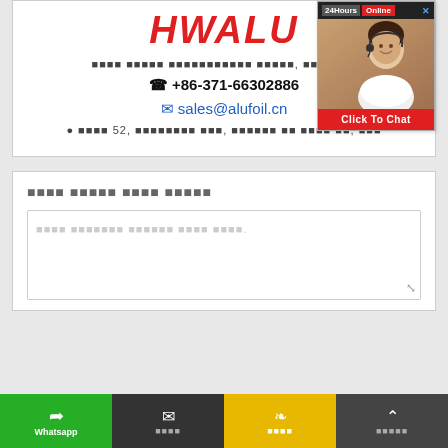[Figure (logo): HWALU company logo in red italic bold text]
Contact information lines with Chinese characters, phone +86-371-66302886, email sales@alufoil.cn, and address
[Figure (photo): 24Hours Online chat widget with photo of woman with headset and Click To Chat button]
Form section with title in Chinese characters and text area with placeholder text
Bottom navigation bar: Whatsapp, email icon with Chinese text, chat icon with Chinese text, up arrow with Chinese text